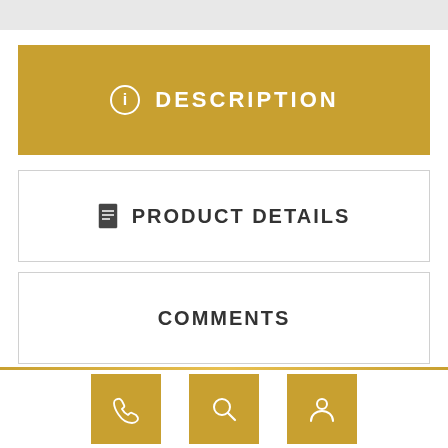[Figure (screenshot): Top grey bar area]
DESCRIPTION
PRODUCT DETAILS
COMMENTS
SALE PRICE £410.00 from £490.00
First buyers of the Silver Hills HAIR SOCIETY...
[Figure (infographic): Bottom navigation bar with phone, search, and account icons in gold square buttons]